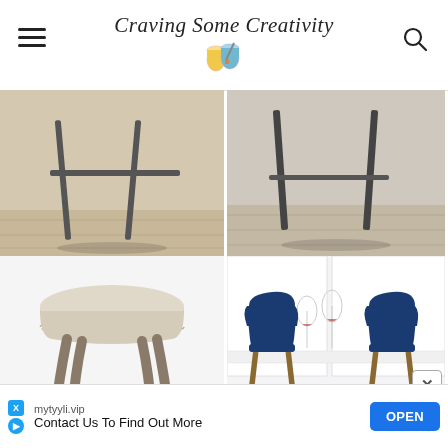Craving Some Creativity
[Figure (photo): Two partial product photos of bar stools — left shows metal legs on wood floor, right shows similar stool legs on wood floor]
[Figure (photo): Round upholstered stool with nailhead trim and wooden legs on white background]
[Figure (photo): Two navy blue velvet bar chairs with wooden and gold metal legs in a kitchen setting]
Enjoy!
mytyyli.vip
Contact Us To Find Out More